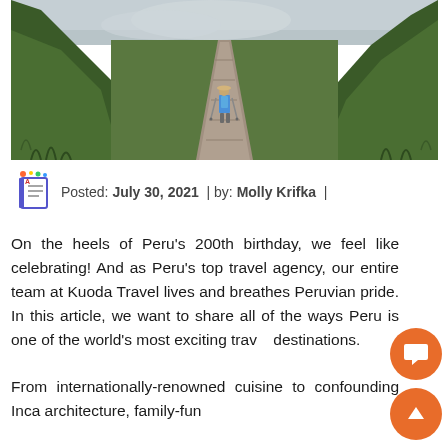[Figure (photo): Hiker walking along a stone-paved mountain trail in Peru, surrounded by green hillside vegetation and cloudy sky.]
Posted: July 30, 2021 | by: Molly Krifka |
On the heels of Peru's 200th birthday, we feel like celebrating! And as Peru's top travel agency, our entire team at Kuoda Travel lives and breathes Peruvian pride. In this article, we want to share all of the ways Peru is one of the world's most exciting travel destinations.
From internationally-renowned cuisine to confounding Inca architecture, family-fun